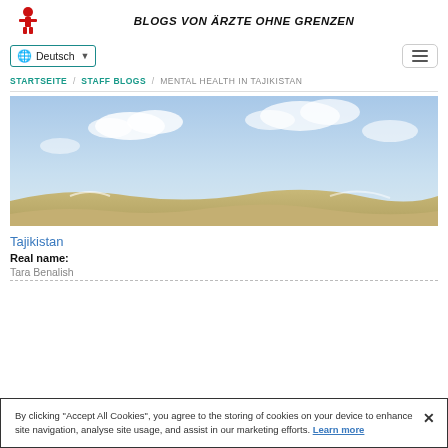BLOGS VON ÄRZTE OHNE GRENZEN
Deutsch
STARTSEITE / STAFF BLOGS / MENTAL HEALTH IN TAJIKISTAN
[Figure (photo): Landscape photo showing a blue sky with white clouds and sandy/hilly terrain at the bottom, typical Central Asian landscape in Tajikistan.]
Tajikistan
Real name:
By clicking "Accept All Cookies", you agree to the storing of cookies on your device to enhance site navigation, analyse site usage, and assist in our marketing efforts. Learn more